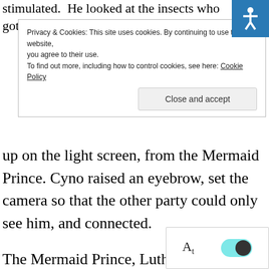stimulated. He looked at the insects who got on the
[Figure (illustration): Blue accessibility icon with wheelchair symbol in upper right corner]
Privacy & Cookies: This site uses cookies. By continuing to use this website, you agree to their use.
To find out more, including how to control cookies, see here: Cookie Policy
Close and accept
up on the light screen, from the Mermaid Prince. Cyno raised an eyebrow, set the camera so that the other party could only see him, and connected.
The Mermaid Prince, Luther, had long blonde hair, and his golden eyes showed a faint concern, “Marshal Cyno, I’m sorry to bother you.”
He finished his apologies and directly explained the reason for the contact, “Not long ago, I fou